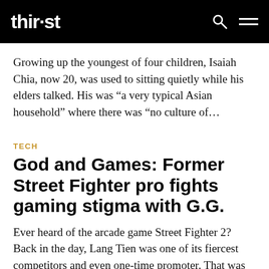thir·st
Growing up the youngest of four children, Isaiah Chia, now 20, was used to sitting quietly while his elders talked. His was “a very typical Asian household” where there was “no culture of…
TECH
God and Games: Former Street Fighter pro fights gaming stigma with G.G.
Ever heard of the arcade game Street Fighter 2? Back in the day, Lang Tien was one of its fiercest competitors and even one-time promoter. That was how he began running a company that organised…